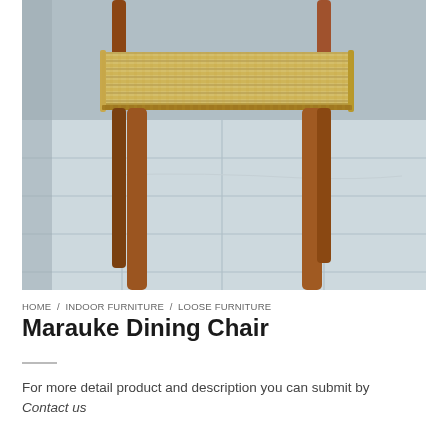[Figure (photo): Close-up photo of a Marauke Dining Chair with wooden legs and woven rattan/seagrass seat, photographed on a light blue tiled floor with a grey wall behind.]
HOME / INDOOR FURNITURE / LOOSE FURNITURE
Marauke Dining Chair
For more detail product and description you can submit by Contact us